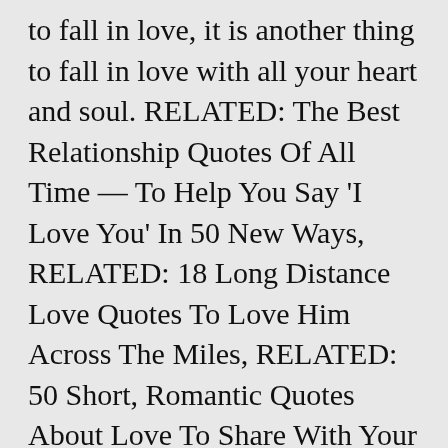to fall in love, it is another thing to fall in love with all your heart and soul. RELATED: The Best Relationship Quotes Of All Time — To Help You Say 'I Love You' In 50 New Ways, RELATED: 18 Long Distance Love Quotes To Love Him Across The Miles, RELATED: 50 Short, Romantic Quotes About Love To Share With Your Partner, RELATED: 40 'I Love You' Quotes That Will Make You Believe In Love Again, RELATED: 35 Best Love Quotes & Romantic Song Lyrics To Share With Your Partner. Subscribe to Mom Soul Soothers to keep up. All my life I've waited for my kindred spirit. What about our souls? Itâ□□s your inner beauty, peace, and soul that counts. I felt strongly connected to you the moment I